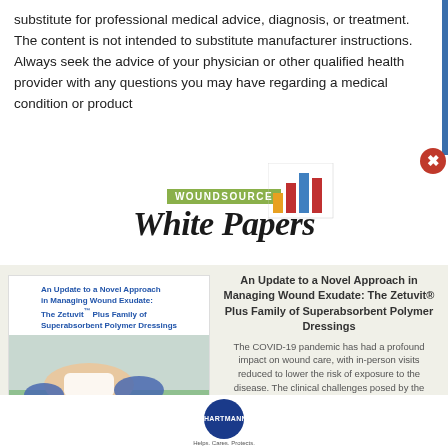substitute for professional medical advice, diagnosis, or treatment. The content is not intended to substitute manufacturer instructions. Always seek the advice of your physician or other qualified health provider with any questions you may have regarding a medical condition or product
[Figure (logo): WoundSource White Papers logo with bar chart icon and olive green badge]
[Figure (photo): Medical brochure cover showing 'An Update to a Novel Approach in Managing Wound Exudate: The Zetuvit Plus Family of Superabsorbent Polymer Dressings' with clinical photo of wound care on patient leg, Hartmann logo at bottom]
An Update to a Novel Approach in Managing Wound Exudate: The Zetuvit® Plus Family of Superabsorbent Polymer Dressings
The COVID-19 pandemic has had a profound impact on wound care, with in-person visits reduced to lower the risk of exposure to the disease. The clinical challenges posed by the pandemic have directed wound care professionals to reassess treatment methods for complex wounds.
DOWNLOAD NOW